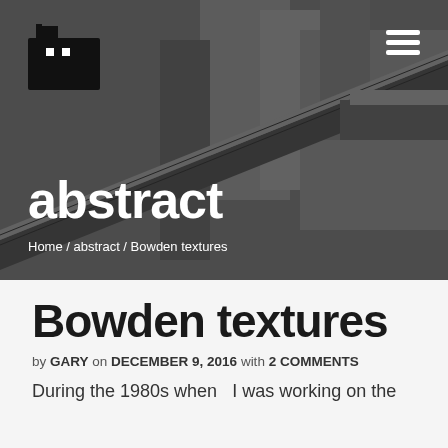[Figure (photo): Black and white photo of industrial buildings and an elevated conveyor belt or walkway structure]
abstract
Home / abstract / Bowden textures
Bowden textures
by GARY on DECEMBER 9, 2016 with 2 COMMENTS
During the 1980s when  I was working on the